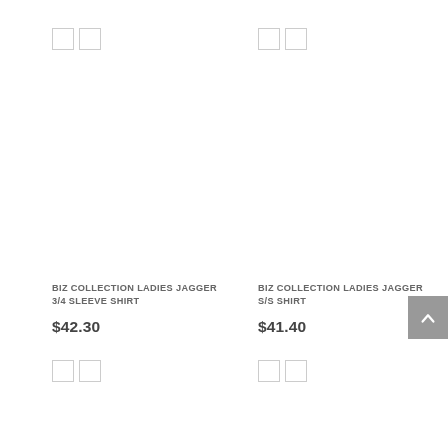[Figure (other): Two color swatches (empty squares) at top left of first product]
[Figure (other): Two color swatches (empty squares) at top left of second product]
[Figure (photo): Product image area for BIZ COLLECTION LADIES JAGGER 3/4 SLEEVE SHIRT (blank/white)]
[Figure (photo): Product image area for BIZ COLLECTION LADIES JAGGER S/S SHIRT (blank/white)]
BIZ COLLECTION LADIES JAGGER 3/4 SLEEVE SHIRT
$42.30
BIZ COLLECTION LADIES JAGGER S/S SHIRT
$41.40
[Figure (other): Two color swatches (empty squares) at bottom left of first product]
[Figure (other): Two color swatches (empty squares) at bottom left of second product]